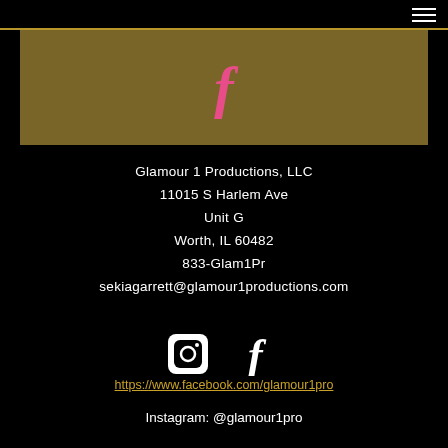[Figure (logo): Gold/tan Facebook banner with pink italic 'f' logo centered on it]
Glamour 1 Productions, LLC
11015 S Harlem Ave
Unit G
Worth, IL  60482
833-Glam1Pr
sekiagarrett@glamour1productions.com
[Figure (logo): White Instagram icon and white Facebook 'f' icon side by side]
https://www.facebook.com/glamour1pro
Instagram: @glamour1pro